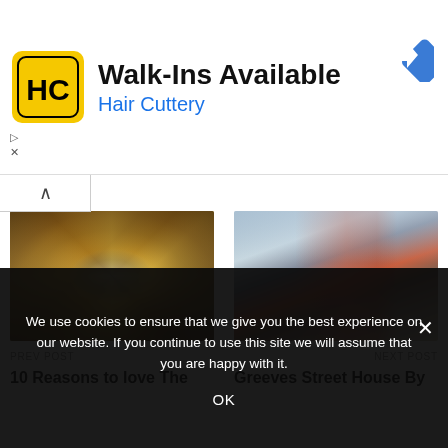[Figure (screenshot): Hair Cuttery advertisement banner with logo, 'Walk-Ins Available' text, blue 'Hair Cuttery' subtitle, and navigation diamond icon]
[Figure (photo): Interior view looking up at the octagonal dome of a cathedral with ornate painted ceiling frescoes and a central oculus]
PREV POST
10 Reasons to love The
[Figure (photo): Aerial/elevated view of modern architecture building with flat gray concrete roof, red accent elements, and surrounding urban context]
NEXT POST
Greeves Street House By
We use cookies to ensure that we give you the best experience on our website. If you continue to use this site we will assume that you are happy with it.
OK